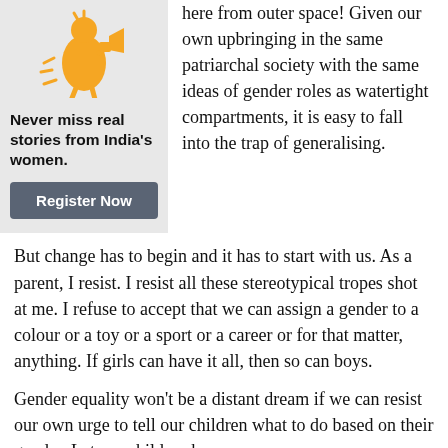[Figure (illustration): Orange/yellow icon of a woman with a megaphone on a grey background]
Never miss real stories from India's women.
Register Now
here from outer space! Given our own upbringing in the same patriarchal society with the same ideas of gender roles as watertight compartments, it is easy to fall into the trap of generalising.
But change has to begin and it has to start with us. As a parent, I resist. I resist all these stereotypical tropes shot at me. I refuse to accept that we can assign a gender to a colour or a toy or a sport or a career or for that matter, anything. If girls can have it all, then so can boys.
Gender equality won't be a distant dream if we can resist our own urge to tell our children what to do based on their gender. Let our children be